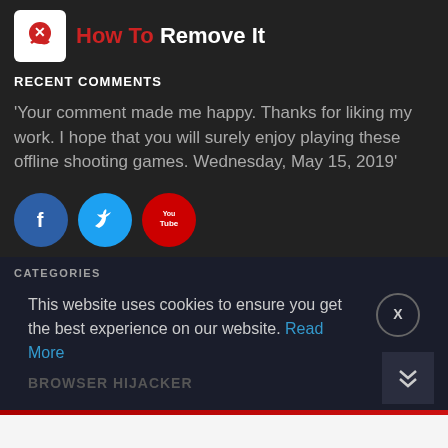How To Remove It
RECENT COMMENTS
'Your comment made me happy. Thanks for liking my work. I hope that you will surely enjoy playing these offline shooting games. Wednesday, May 15, 2019'
[Figure (other): Social media icons: Facebook (blue circle), Twitter (light blue circle), YouTube (red circle)]
CATEGORIES
This website uses cookies to ensure you get the best experience on our website. Read More
BROWSER HIJACKER